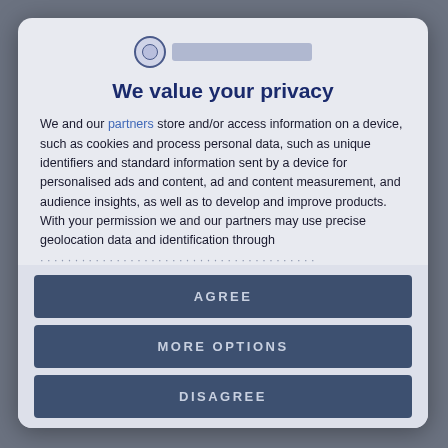[Figure (logo): Circular logo icon with globe/seal design and a blurred/redacted text label to its right]
We value your privacy
We and our partners store and/or access information on a device, such as cookies and process personal data, such as unique identifiers and standard information sent by a device for personalised ads and content, ad and content measurement, and audience insights, as well as to develop and improve products. With your permission we and our partners may use precise geolocation data and identification through [text fades/truncated]
AGREE
MORE OPTIONS
DISAGREE